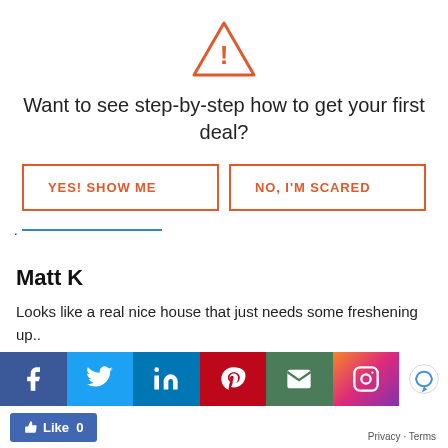[Figure (illustration): Orange warning triangle icon with exclamation mark]
Want to see step-by-step how to get your first deal?
[Figure (other): Two buttons: YES! SHOW ME and NO, I'M SCARED, both with orange border and text]
. ___
Matt K
Looks like a real nice house that just needs some freshening up..
I'm starting a bandit sign campaign this week, I need...
[Figure (other): Social sharing bar with Facebook, Twitter, LinkedIn, Pinterest, Email, Instagram, and reCAPTCHA buttons]
[Figure (other): Facebook Like button showing 0 likes]